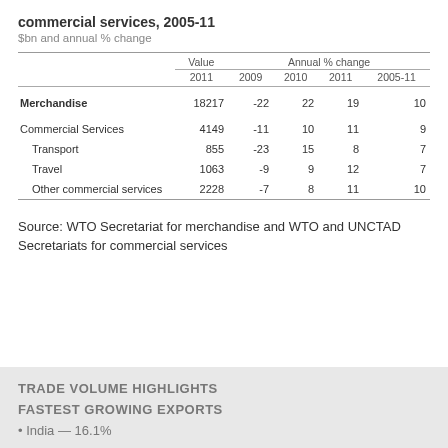commercial services, 2005-11
$bn and annual % change
|  | Value 2011 | Annual % change 2009 | Annual % change 2010 | Annual % change 2011 | Annual % change 2005-11 |
| --- | --- | --- | --- | --- | --- |
| Merchandise | 18217 | -22 | 22 | 19 | 10 |
| Commercial Services | 4149 | -11 | 10 | 11 | 9 |
| Transport | 855 | -23 | 15 | 8 | 7 |
| Travel | 1063 | -9 | 9 | 12 | 7 |
| Other commercial services | 2228 | -7 | 8 | 11 | 10 |
Source: WTO Secretariat for merchandise and WTO and UNCTAD Secretariats for commercial services
TRADE VOLUME HIGHLIGHTS
FASTEST GROWING EXPORTS
India — 16.1%